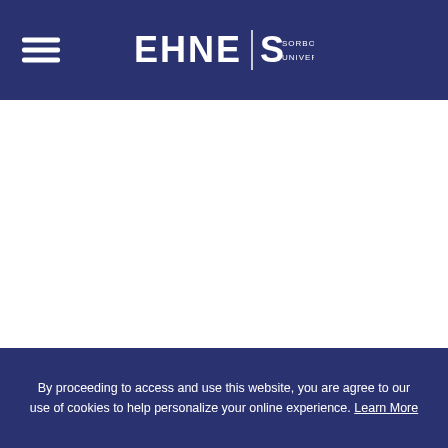EHNE | S SORBONNE UNIVERSITÉ
By proceeding to access and use this website, you are agree to our use of cookies to help personalize your online experience. Learn More